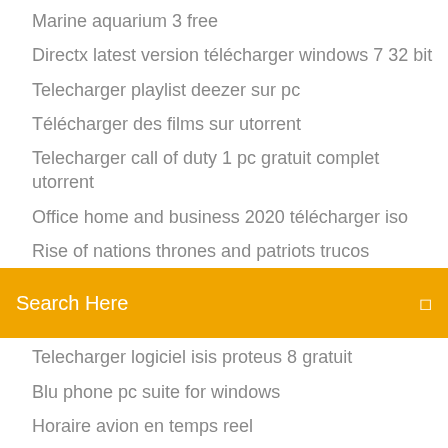Marine aquarium 3 free
Directx latest version télécharger windows 7 32 bit
Telecharger playlist deezer sur pc
Télécharger des films sur utorrent
Telecharger call of duty 1 pc gratuit complet utorrent
Office home and business 2020 télécharger iso
Rise of nations thrones and patriots trucos
Search Here
Telecharger logiciel isis proteus 8 gratuit
Blu phone pc suite for windows
Horaire avion en temps reel
Windows 10 64 bits iso mega
Logiciel darchitecture 3d gratuit pour pc
Windows 7 service pack 2 iso gratuit télécharger
App dictionnaire espagnol hors ligne
Google maps without data or wifi
Question pour un champion jeux apk
Telecharger application athan pour pc gratuit